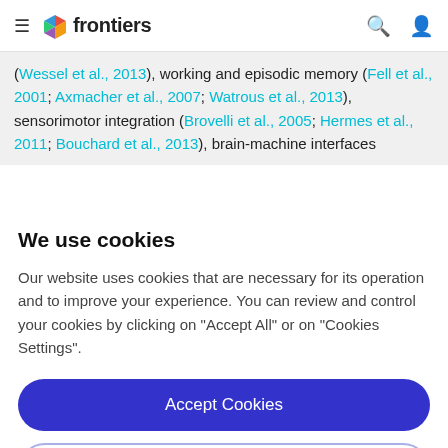frontiers
(Wessel et al., 2013), working and episodic memory (Fell et al., 2001; Axmacher et al., 2007; Watrous et al., 2013), sensorimotor integration (Brovelli et al., 2005; Hermes et al., 2011; Bouchard et al., 2013), brain-machine interfaces
We use cookies
Our website uses cookies that are necessary for its operation and to improve your experience. You can review and control your cookies by clicking on "Accept All" or on "Cookies Settings".
Accept Cookies
Cookies Settings